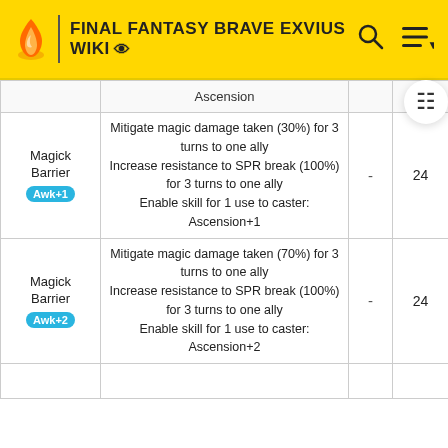FINAL FANTASY BRAVE EXVIUS WIKI
|  | Ascension |  |  |
| --- | --- | --- | --- |
| Magick Barrier Awk+1 | Mitigate magic damage taken (30%) for 3 turns to one ally
Increase resistance to SPR break (100%) for 3 turns to one ally
Enable skill for 1 use to caster: Ascension+1 | - | 24 |
| Magick Barrier Awk+2 | Mitigate magic damage taken (70%) for 3 turns to one ally
Increase resistance to SPR break (100%) for 3 turns to one ally
Enable skill for 1 use to caster: Ascension+2 | - | 24 |
|  |  |  |  |